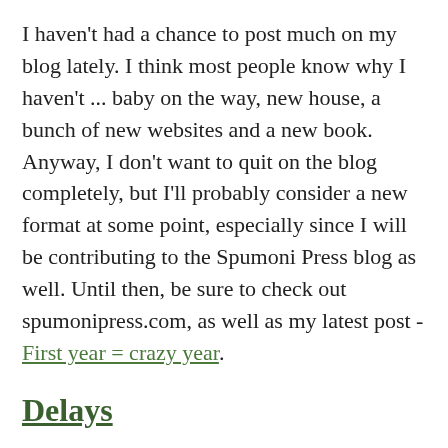I haven't had a chance to post much on my blog lately. I think most people know why I haven't ... baby on the way, new house, a bunch of new websites and a new book. Anyway, I don't want to quit on the blog completely, but I'll probably consider a new format at some point, especially since I will be contributing to the Spumoni Press blog as well. Until then, be sure to check out spumonipress.com, as well as my latest post - First year = crazy year.
Delays
November 8, 2010
I had expected this note would give you an exact date, preferably in December, to announce the launch of "Corporate Ties." Unfortunately, it will have to wait a bit longer. I've been slightly busier this fall